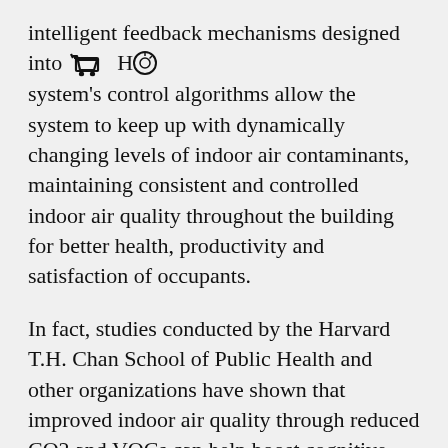intelligent feedback mechanisms designed into the HLR system's control algorithms allow the system to keep up with dynamically changing levels of indoor air contaminants, maintaining consistent and controlled indoor air quality throughout the building for better health, productivity and satisfaction of occupants.
In fact, studies conducted by the Harvard T.H. Chan School of Public Health and other organizations have shown that improved indoor air quality through reduced CO2 and VOCs can help boost cognitive performance of building occupants by 101 percent. According to another Harvard study, office worker productivity was estimated to increase by as much as $6,500 per worker and management productivity by $15,500 per manager. So, not only can the HLR technology improve air quality for the benefit of the workers to reduce discomfort and complaints, but it also increases the individual value of the occupants.